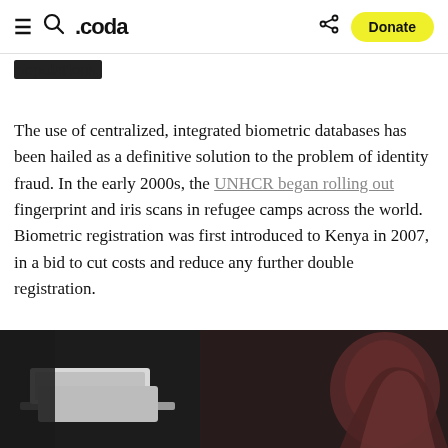≡ 🔍 .coda   < Donate
populations.
The use of centralized, integrated biometric databases has been hailed as a definitive solution to the problem of identity fraud. In the early 2000s, the UNHCR began rolling out fingerprint and iris scans in refugee camps across the world. Biometric registration was first introduced to Kenya in 2007, in a bid to cut costs and reduce any further double registration.
[Figure (photo): Dark photograph showing what appears to be a device or tablet on a table on the left, and a person in reddish-brown clothing on the right, set against a dark background.]